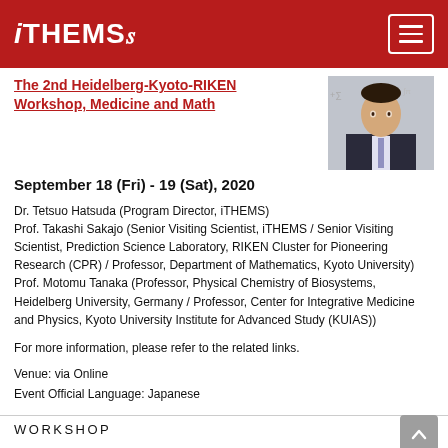iTHEMS
The 2nd Heidelberg-Kyoto-RIKEN Workshop, Medicine and Math
[Figure (photo): Portrait photo of a man in a dark suit and tie]
September 18 (Fri) - 19 (Sat), 2020
Dr. Tetsuo Hatsuda (Program Director, iTHEMS)
Prof. Takashi Sakajo (Senior Visiting Scientist, iTHEMS / Senior Visiting Scientist, Prediction Science Laboratory, RIKEN Cluster for Pioneering Research (CPR) / Professor, Department of Mathematics, Kyoto University)
Prof. Motomu Tanaka (Professor, Physical Chemistry of Biosystems, Heidelberg University, Germany / Professor, Center for Integrative Medicine and Physics, Kyoto University Institute for Advanced Study (KUIAS))
For more information, please refer to the related links.
Venue: via Online
Event Official Language: Japanese
WORKSHOP